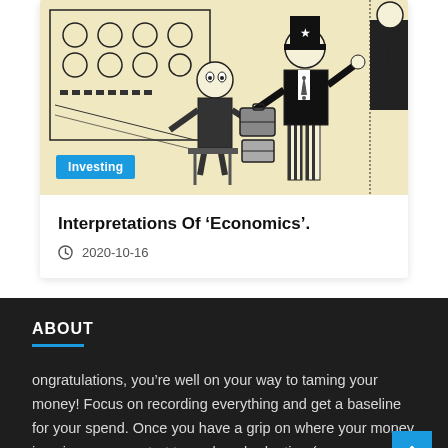[Figure (illustration): Black and white cartoon illustration showing a person at a control panel/cockpit on the left, and a figure dressed as Uncle Sam holding luggage with another person on the right, on a yellowish background]
Investing
Interpretations Of ‘Economics’.
2020-10-16
ABOUT
ongratulations, you’re well on your way to taming your money! Focus on recording everything and get a baseline for your spend. Once you have a grip on where your money is going you can start to work on budgeting (no,